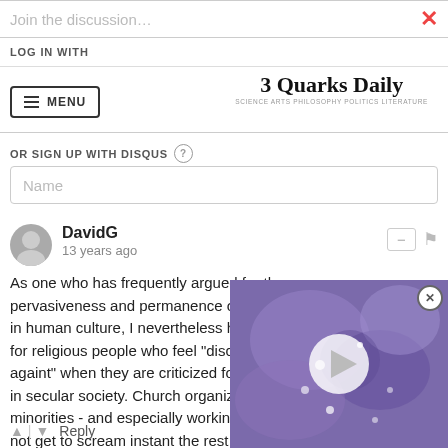Join the discussion…
LOG IN WITH
[Figure (screenshot): Menu button with hamburger icon and 3 Quarks Daily logo with subtitle SCIENCE ARTS PHILOSOPHY POLITICS LITERATURE]
OR SIGN UP WITH DISQUS
Name
DavidG • 13 years ago
As one who has frequently argued for the pervasiveness and permanence of religious belief in human culture, I nevertheless hold no quarter for religious people who feel "discriminated againt" when they are criticized for their activities in secular society. Church organizations wor minorities - and especially workin secular law - do not get to scream instant the rest of us refuse to reco duty.
[Figure (photo): Video overlay thumbnail showing purple/blue crystalline texture with a play button]